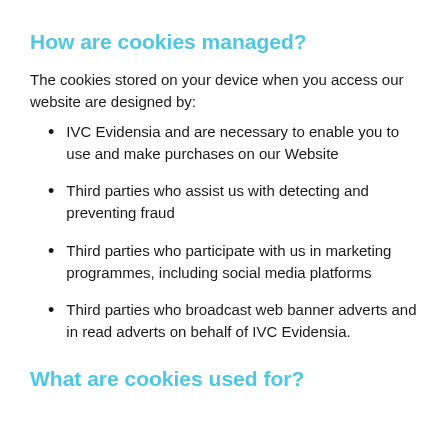How are cookies managed?
The cookies stored on your device when you access our website are designed by:
IVC Evidensia and are necessary to enable you to use and make purchases on our Website
Third parties who assist us with detecting and preventing fraud
Third parties who participate with us in marketing programmes, including social media platforms
Third parties who broadcast web banner adverts and in read adverts on behalf of IVC Evidensia.
What are cookies used for?